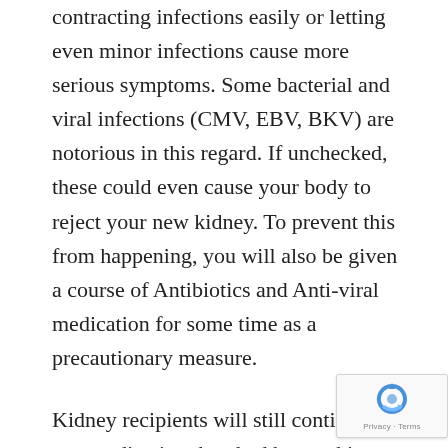contracting infections easily or letting even minor infections cause more serious symptoms. Some bacterial and viral infections (CMV, EBV, BKV) are notorious in this regard. If unchecked, these could even cause your body to reject your new kidney. To prevent this from happening, you will also be given a course of Antibiotics and Anti-viral medication for some time as a precautionary measure.
Kidney recipients will still continue any medication they had been taking for the root cause of their chronic kidney disease such as for Diabetes mellitus, high blood pressure, auto-immune conditions etc. Similarly, transplant patients with co-morbidities unrelated to kidney disease will continue their treatment post-transplant. However, such